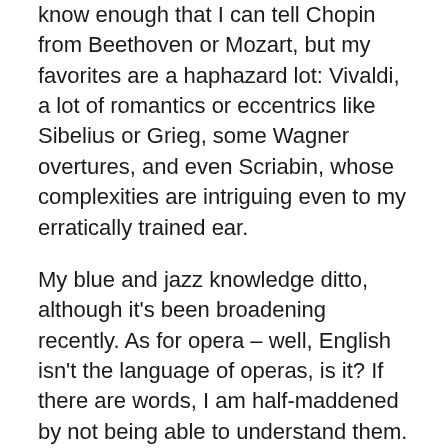know enough that I can tell Chopin from Beethoven or Mozart, but my favorites are a haphazard lot: Vivaldi, a lot of romantics or eccentrics like Sibelius or Grieg, some Wagner overtures, and even Scriabin, whose complexities are intriguing even to my erratically trained ear.
My blue and jazz knowledge ditto, although it's been broadening recently. As for opera – well, English isn't the language of operas, is it? If there are words, I am half-maddened by not being able to understand them. And a little light opera like Gilbert and Sullivan goes a long way, rather like reading too many P.G. Wodehouses in succession; you start longing for something of substance.
Still, I'm not complaining – much. Considering my unpromising musical education, I'm surprised that I have any musical interest at all. The best use I found for my